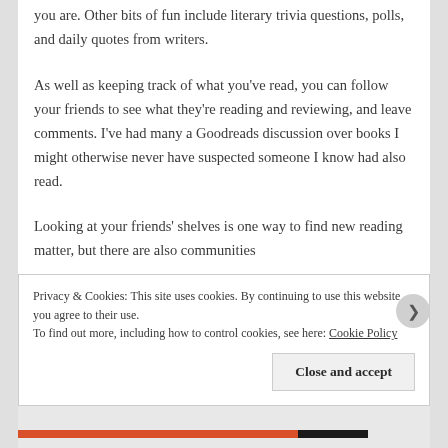you are. Other bits of fun include literary trivia questions, polls, and daily quotes from writers.
As well as keeping track of what you've read, you can follow your friends to see what they're reading and reviewing, and leave comments. I've had many a Goodreads discussion over books I might otherwise never have suspected someone I know had also read.
Looking at your friends' shelves is one way to find new reading matter, but there are also communities
Privacy & Cookies: This site uses cookies. By continuing to use this website, you agree to their use.
To find out more, including how to control cookies, see here: Cookie Policy
Close and accept